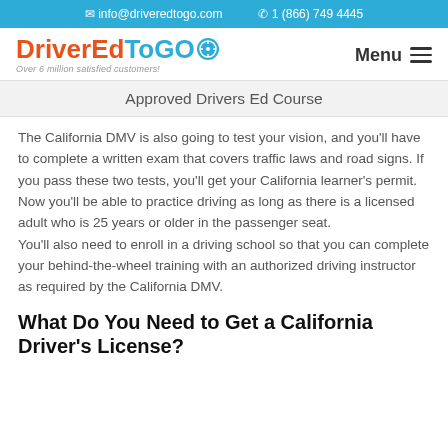✉ info@driveredtogo.com   ✆ 1 (866) 749 4445
[Figure (logo): DriverEdToGo logo with orange and blue text, steering wheel icon, and tagline 'Over 6 million satisfied customers!']
Approved Drivers Ed Course
The California DMV is also going to test your vision, and you'll have to complete a written exam that covers traffic laws and road signs. If you pass these two tests, you'll get your California learner's permit. Now you'll be able to practice driving as long as there is a licensed adult who is 25 years or older in the passenger seat. You'll also need to enroll in a driving school so that you can complete your behind-the-wheel training with an authorized driving instructor as required by the California DMV.
What Do You Need to Get a California Driver's License?